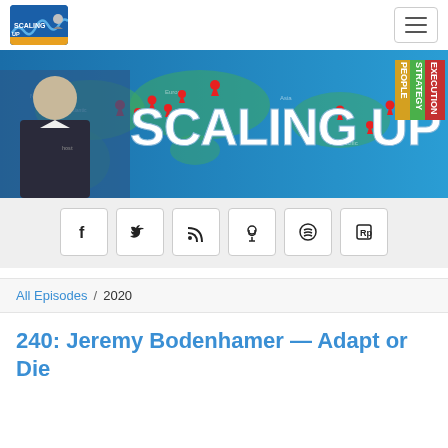Scaling Up podcast navigation bar with logo and hamburger menu
[Figure (photo): Scaling Up podcast banner with host photo, world map with red location pins, large SCALING UP text, and colored wedge labels: PEOPLE, STRATEGY, EXECUTION]
[Figure (infographic): Social media sharing buttons row: Facebook, Twitter, RSS, Podcast, Spotify, RadioPublic]
All Episodes / 2020
240: Jeremy Bodenhamer — Adapt or Die